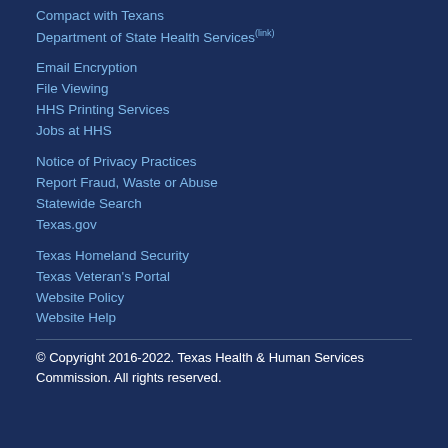Compact with Texans
Department of State Health Services (link)
Email Encryption
File Viewing
HHS Printing Services
Jobs at HHS
Notice of Privacy Practices
Report Fraud, Waste or Abuse
Statewide Search
Texas.gov
Texas Homeland Security
Texas Veteran's Portal
Website Policy
Website Help
© Copyright 2016-2022. Texas Health & Human Services Commission. All rights reserved.